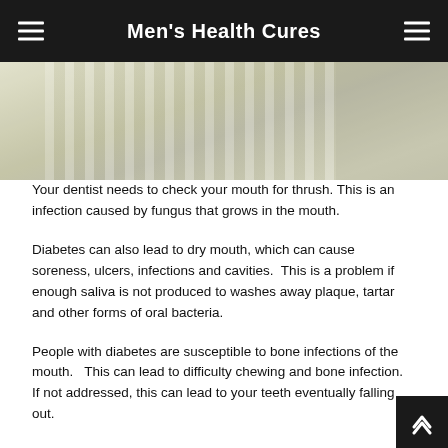Men's Health Cures
[Figure (photo): Close-up photo of white striped fabric or bedding]
Your dentist needs to check your mouth for thrush. This is an infection caused by fungus that grows in the mouth.
Diabetes can also lead to dry mouth, which can cause soreness, ulcers, infections and cavities.  This is a problem if enough saliva is not produced to washes away plaque, tartar and other forms of oral bacteria.
People with diabetes are susceptible to bone infections of the mouth.   This can lead to difficulty chewing and bone infection.  If not addressed, this can lead to your teeth eventually falling out.